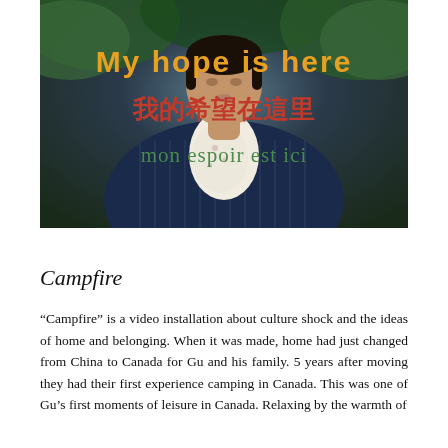[Figure (photo): Photo of a person wearing a navy pinstripe blazer and a white floral neckerchief/scarf, with green foliage in the background. Overlaid text in three languages: English 'My hope is here' in gold/orange, Chinese '我的希望在這里' in red, and French 'mon espoir est ici' in green.]
Campfire
“Campfire” is a video installation about culture shock and the ideas of home and belonging. When it was made, home had just changed from China to Canada for Gu and his family. 5 years after moving they had their first experience camping in Canada. This was one of Gu’s first moments of leisure in Canada. Relaxing by the warmth of